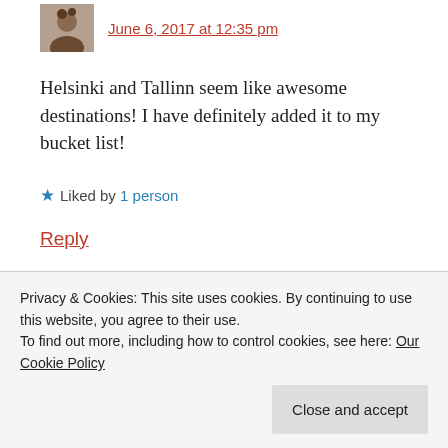June 6, 2017 at 12:35 pm
Helsinki and Tallinn seem like awesome destinations! I have definitely added it to my bucket list!
★ Liked by 1 person
Reply
At Lifestyle Crossroads says:
Privacy & Cookies: This site uses cookies. By continuing to use this website, you agree to their use.
To find out more, including how to control cookies, see here: Our Cookie Policy
Close and accept
remember I've bought myself a warm